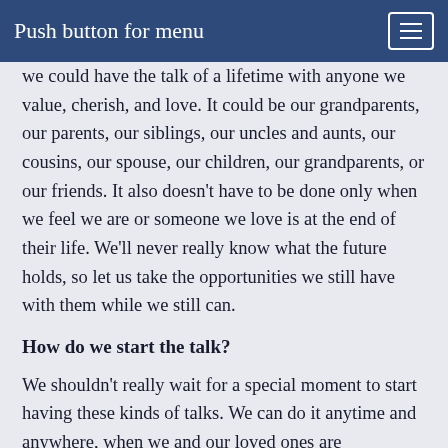Push button for menu
We could have the talk of a lifetime with anyone we value, cherish, and love. It could be our grandparents, our parents, our siblings, our uncles and aunts, our cousins, our spouse, our children, our grandparents, or our friends. It also doesn't have to be done only when we feel we are or someone we love is at the end of their life. We'll never really know what the future holds, so let us take the opportunities we still have with them while we still can.
How do we start the talk?
We shouldn't really wait for a special moment to start having these kinds of talks. We can do it anytime and anywhere, when we and our loved ones are comfortable — at home while we're having meals together,out for a walk, gathered as a family, or playing games.
We could also sometimes start with visual prompts, like